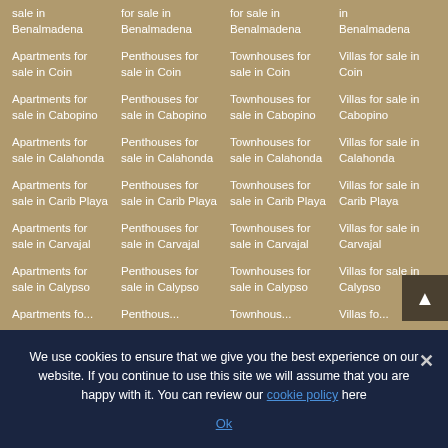sale in Benalmadena
for sale in Benalmadena
for sale in Benalmadena
in Benalmadena
Apartments for sale in Coin
Penthouses for sale in Coin
Townhouses for sale in Coin
Villas for sale in Coin
Apartments for sale in Cabopino
Penthouses for sale in Cabopino
Townhouses for sale in Cabopino
Villas for sale in Cabopino
Apartments for sale in Calahonda
Penthouses for sale in Calahonda
Townhouses for sale in Calahonda
Villas for sale in Calahonda
Apartments for sale in Carib Playa
Penthouses for sale in Carib Playa
Townhouses for sale in Carib Playa
Villas for sale in Carib Playa
Apartments for sale in Carvajal
Penthouses for sale in Carvajal
Townhouses for sale in Carvajal
Villas for sale in Carvajal
Apartments for sale in Calypso
Penthouses for sale in Calypso
Townhouses for sale in Calypso
Villas for sale in Calypso
We use cookies to ensure that we give you the best experience on our website. If you continue to use this site we will assume that you are happy with it. You can review our cookie policy here
Ok